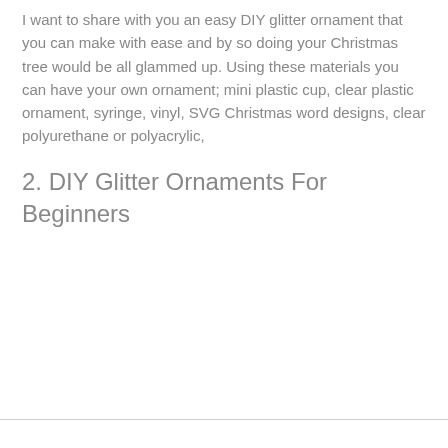I want to share with you an easy DIY glitter ornament that you can make with ease and by so doing your Christmas tree would be all glammed up. Using these materials you can have your own ornament; mini plastic cup, clear plastic ornament, syringe, vinyl, SVG Christmas word designs, clear polyurethane or polyacrylic,
2. DIY Glitter Ornaments For Beginners